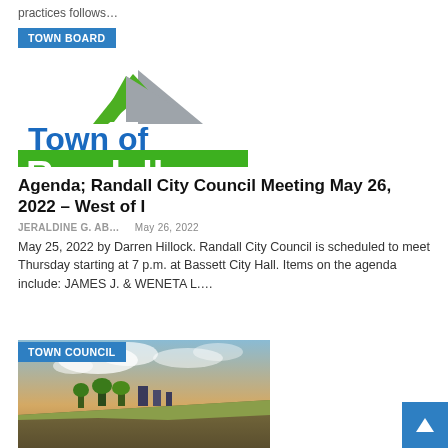practices follows…
TOWN BOARD
[Figure (logo): Town of Randall logo: green and blue text with a stylized rooftop graphic in gray and green above, green rectangle behind 'Randall']
Agenda; Randall City Council Meeting May 26, 2022 – West of I
JERALDINE G. AB…    May 26, 2022
May 25, 2022 by Darren Hillock. Randall City Council is scheduled to meet Thursday starting at 7 p.m. at Bassett City Hall. Items on the agenda include: JAMES J. & WENETA L.…
TOWN COUNCIL
[Figure (photo): Coastal landscape photo showing a cliff with trees and buildings, dramatic sky with clouds at sunset]